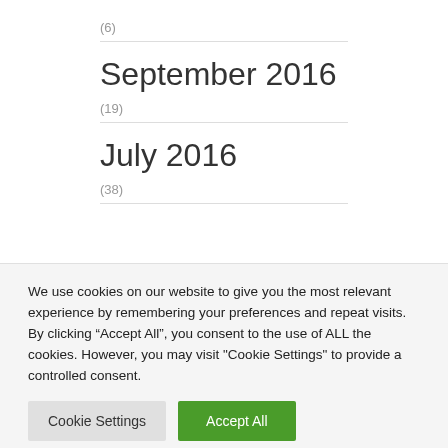(6)
September 2016
(19)
July 2016
(38)
We use cookies on our website to give you the most relevant experience by remembering your preferences and repeat visits. By clicking “Accept All”, you consent to the use of ALL the cookies. However, you may visit "Cookie Settings" to provide a controlled consent.
Cookie Settings
Accept All